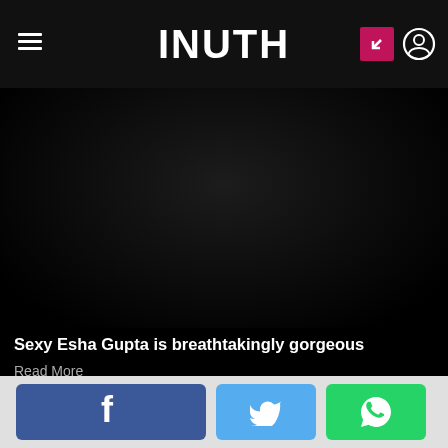INUTH
[Figure (photo): Dark hero image of Esha Gupta, predominantly black with subtle figure silhouette]
Sexy Esha Gupta is breathtakingly gorgeous
Read More
55 / 56
[Figure (other): Social share buttons: Facebook, Twitter, WhatsApp]